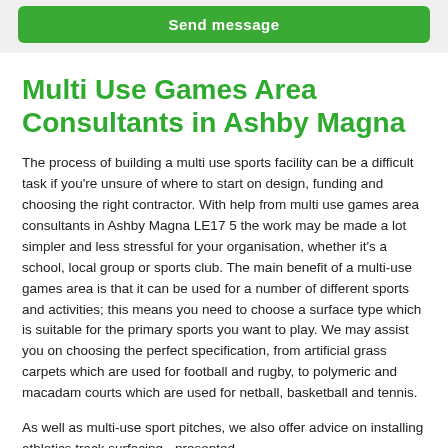[Figure (other): Green 'Send message' button on grey background]
Multi Use Games Area Consultants in Ashby Magna
The process of building a multi use sports facility can be a difficult task if you're unsure of where to start on design, funding and choosing the right contractor. With help from multi use games area consultants in Ashby Magna LE17 5 the work may be made a lot simpler and less stressful for your organisation, whether it's a school, local group or sports club. The main benefit of a multi-use games area is that it can be used for a number of different sports and activities; this means you need to choose a surface type which is suitable for the primary sports you want to play. We may assist you on choosing the perfect specification, from artificial grass carpets which are used for football and rugby, to polymeric and macadam courts which are used for netball, basketball and tennis.
As well as multi-use sport pitches, we also offer advice on installing athletics track surfacing - presented